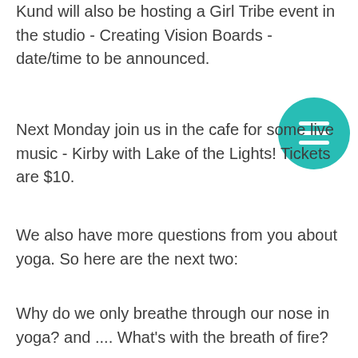Kund will also be hosting a Girl Tribe event in the studio - Creating Vision Boards - date/time to be announced.
[Figure (illustration): Teal/turquoise circular menu button with three horizontal white lines (hamburger icon)]
Next Monday join us in the cafe for some live music - Kirby with Lake of the Lights! Tickets are $10.
We also have more questions from you about yoga. So here are the next two:
Why do we only breathe through our nose in yoga? and .... What's with the breath of fire?